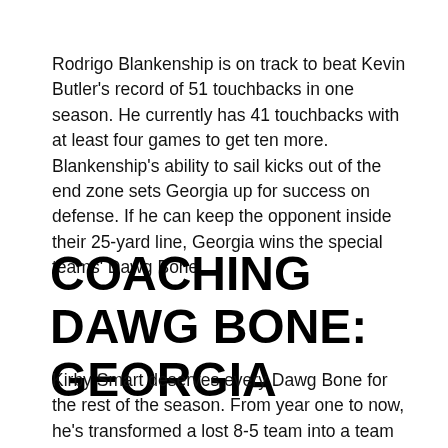Rodrigo Blankenship is on track to beat Kevin Butler's record of 51 touchbacks in one season. He currently has 41 touchbacks with at least four games to get ten more. Blankenship's ability to sail kicks out of the end zone sets Georgia up for success on defense. If he can keep the opponent inside their 25-yard line, Georgia wins the special teams' Dawg Bone.
COACHING DAWG BONE: GEORGIA
Kirby Smart deserves every Dawg Bone for the rest of the season. From year one to now, he's transformed a lost 8-5 team into a team that believes it cannot fail. His ability to coach his team away from complacency can be mirrored by